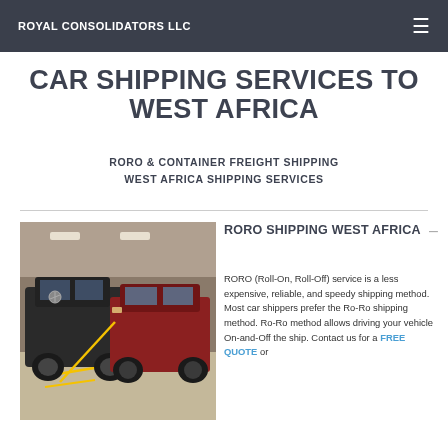ROYAL CONSOLIDATORS LLC
CAR SHIPPING SERVICES TO WEST AFRICA
RORO & CONTAINER FREIGHT SHIPPING
WEST AFRICA SHIPPING SERVICES
[Figure (photo): Parking garage with several cars including a Mercedes-Benz, tied down with yellow straps on a concrete floor.]
RORO SHIPPING WEST AFRICA
RORO (Roll-On, Roll-Off) service is a less expensive, reliable, and speedy shipping method. Most car shippers prefer the Ro-Ro shipping method. Ro-Ro method allows driving your vehicle On-and-Off the ship. Contact us for a FREE QUOTE or